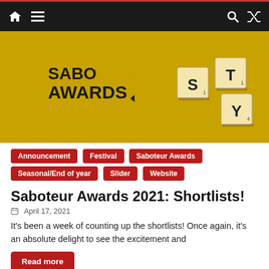Navigation bar with home, menu, search, and shuffle icons
[Figure (photo): Saboteur Awards logo with Scrabble tiles spelling S, T, Y on a golden/yellow background]
Announcement
Festival
Saboteur Awards
Seasonal/End of year
Slider
Website
Saboteur Awards 2021: Shortlists!
April 17, 2021
It's been a week of counting up the shortlists! Once again, it's an absolute delight to see the excitement and
Read more
[Figure (photo): Scrabble tiles spelling TWENTY on a golden/yellow background]